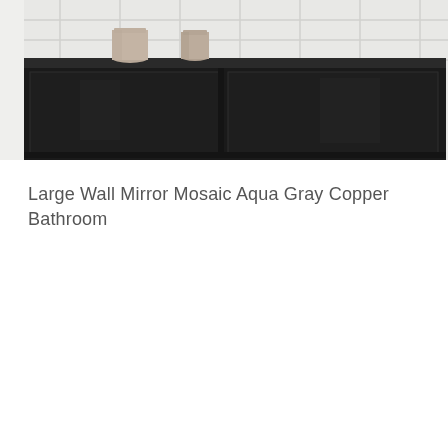[Figure (photo): Cropped photo showing the bottom portion of a bathroom scene: a dark/black low-profile cabinet or vanity unit against a white tiled wall. Two light-colored (beige/tan) vases or containers sit on top of the dark cabinet. The cabinet has a sleek, modern design with panel doors.]
Large Wall Mirror Mosaic Aqua Gray Copper Bathroom